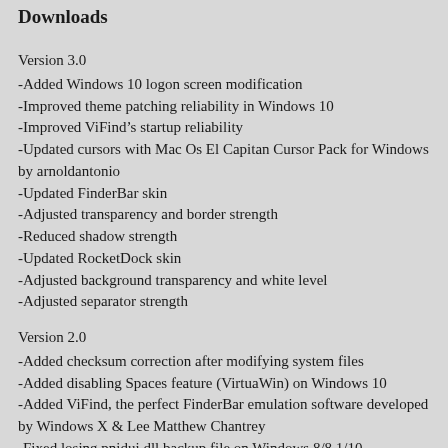Downloads
Version 3.0
-Added Windows 10 logon screen modification
-Improved theme patching reliability in Windows 10
-Improved ViFind’s startup reliability
-Updated cursors with Mac Os El Capitan Cursor Pack for Windows by arnoldantonio
-Updated FinderBar skin
-Adjusted transparency and border strength
-Reduced shadow strength
-Updated RocketDock skin
-Adjusted background transparency and white level
-Adjusted separator strength
Version 2.0
-Added checksum correction after modifying system files
-Added disabling Spaces feature (VirtuaWin) on Windows 10
-Added ViFind, the perfect FinderBar emulation software developed by Windows X & Lee Matthew Chantrey
-Fixed losing pnidui.dll backup file on Windows 8/8.1/10